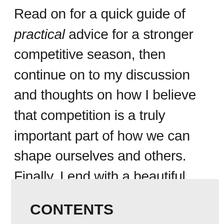Read on for a quick guide of practical advice for a stronger competitive season, then continue on to my discussion and thoughts on how I believe that competition is a truly important part of how we can shape ourselves and others. Finally, I end with a beautiful menu of Primal Groudon-EX three ways, which a super special side dish — hope you're hungry!
CONTENTS